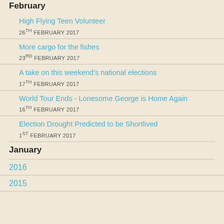February
High Flying Teen Volunteer
26TH FEBRUARY 2017
More cargo for the fishes
23RD FEBRUARY 2017
A take on this weekend's national elections
17TH FEBRUARY 2017
World Tour Ends - Lonesome George is Home Again
16TH FEBRUARY 2017
Election Drought Predicted to be Shortlived
1ST FEBRUARY 2017
January
2016
2015